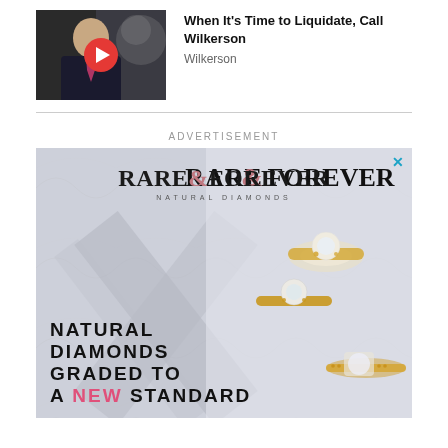[Figure (screenshot): Video thumbnail showing a man in a suit with a red play button overlay, and text title 'When It's Time to Liquidate, Call Wilkerson' with subtitle 'Wilkerson']
When It's Time to Liquidate, Call Wilkerson
Wilkerson
ADVERTISEMENT
[Figure (photo): Rare & Forever Natural Diamonds advertisement showing three diamond rings on a marble background with text 'NATURAL DIAMONDS GRADED TO A NEW STANDARD']